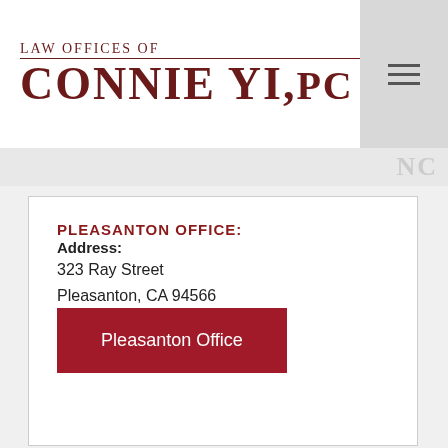Law Offices of Connie Yi, PC
PLEASANTON OFFICE:
Address:
323 Ray Street
Pleasanton, CA 94566
Pleasanton Office